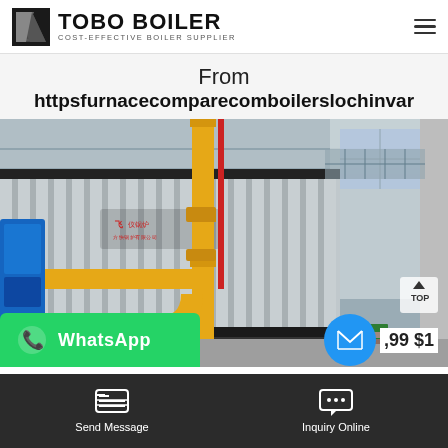TOBO BOILER — COST-EFFECTIVE BOILER SUPPLIER
From httpsfurnacecomparecomboilerslochinvar
[Figure (photo): Industrial boiler unit with corrugated metal casing and yellow gas pipes, photographed inside a factory or warehouse. Chinese text on boiler body. A TOP navigation button visible in lower right.]
WhatsApp
,99 $1
Send Message | Inquiry Online